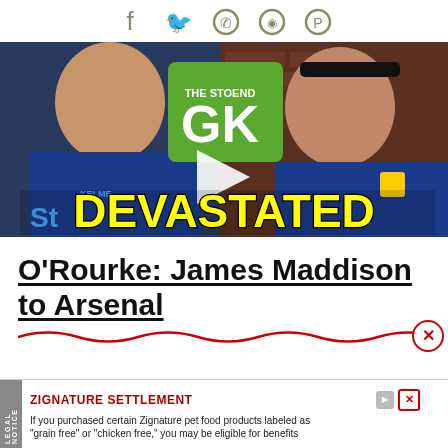[Figure (infographic): Row of social media share icons: Facebook, Twitter, WhatsApp, Reddit, Pinterest]
[Figure (screenshot): Video thumbnail showing two men in blue Watford football kits with a green 'GK' logo overlay and bold yellow text 'DEVASTATED' at the bottom]
O’Rourke: James Maddison to Arsenal
[Figure (infographic): Advertisement: ZIGNATURE SETTLEMENT - If you purchased certain Zignature pet food products labeled as “grain free” or “chicken free,” you may be eligible for benefits]